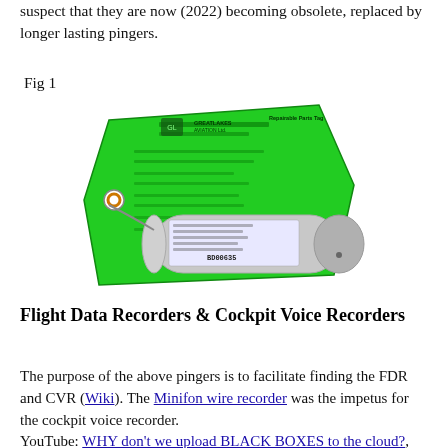suspect that they are now (2022) becoming obsolete, replaced by longer lasting pingers.
Fig 1
[Figure (photo): A cylindrical aviation pinger/beacon device with a green Repairable Parts Tag from Great Lakes Aviation Ltd. attached to it. The tag is bright green with black printed text. The device is a small metallic cylinder with a label showing serial number BD00635.]
Flight Data Recorders & Cockpit Voice Recorders
The purpose of the above pingers is to facilitate finding the FDR and CVR (Wiki). The Minifon wire recorder was the impetus for the cockpit voice recorder.
YouTube: WHY don't we upload BLACK BOXES to the cloud?, 17:30 -